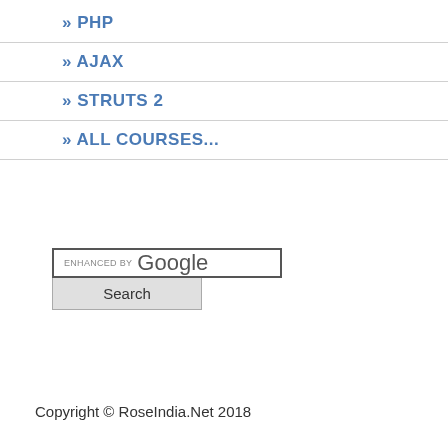» PHP
» AJAX
» STRUTS 2
» ALL COURSES...
[Figure (screenshot): Enhanced by Google search box with Search button]
Copyright © RoseIndia.Net 2018